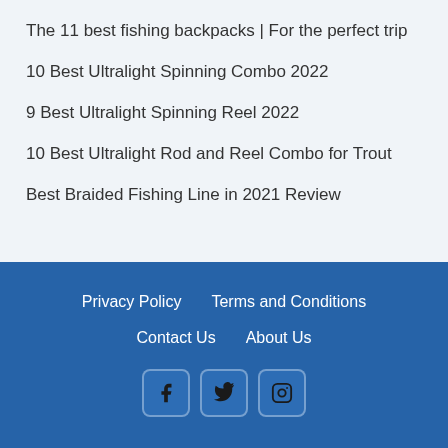The 11 best fishing backpacks | For the perfect trip
10 Best Ultralight Spinning Combo 2022
9 Best Ultralight Spinning Reel 2022
10 Best Ultralight Rod and Reel Combo for Trout
Best Braided Fishing Line in 2021 Review
Privacy Policy   Terms and Conditions   Contact Us   About Us